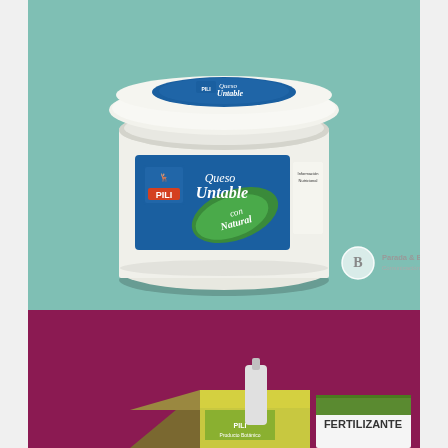[Figure (photo): Product photo of a white plastic tub of 'Queso Untable Natural' by PILI brand. The container has a blue and green label with the PILI logo and 'Queso Untable con Natural' text. The background is a muted teal/mint green. A circular 'B Parada & Bertara Comunicación Inteligente' watermark logo is visible in the bottom-right area.]
[Figure (photo): Partial product photo showing packaging boxes/cartons with green and yellow labels on a dark magenta/burgundy background. The partially visible box shows 'FERTILIZANTE' text.]